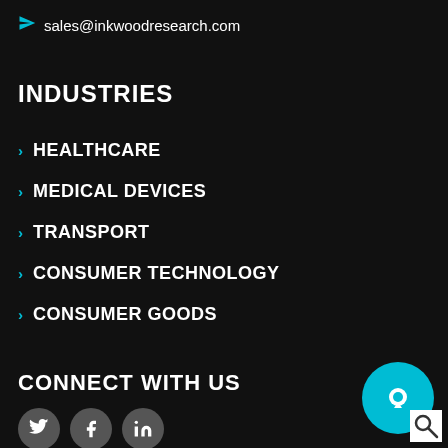sales@inkwoodresearch.com
INDUSTRIES
HEALTHCARE
MEDICAL DEVICES
TRANSPORT
CONSUMER TECHNOLOGY
CONSUMER GOODS
CONNECT WITH US
[Figure (illustration): Social media icons: Twitter, Facebook, LinkedIn in grey circles]
[Figure (illustration): Teal chat/search widget with white paper icon and magnifier]